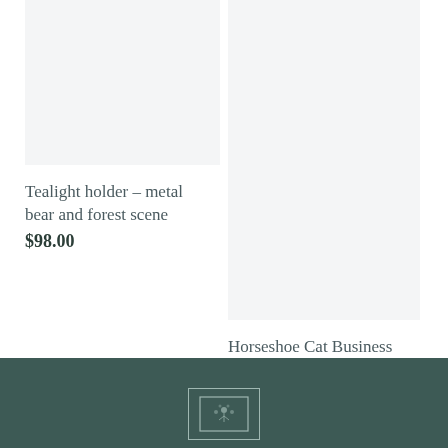[Figure (photo): Product image placeholder for Tealight holder - metal bear and forest scene, light grey background]
Tealight holder - metal bear and forest scene
$98.00
[Figure (photo): Product image placeholder for Horseshoe Cat Business Card Holder, light grey background]
Horseshoe Cat Business Card Holder
$55.00
[Figure (logo): Footer logo on dark teal background, small decorative icon inside a rectangular border]